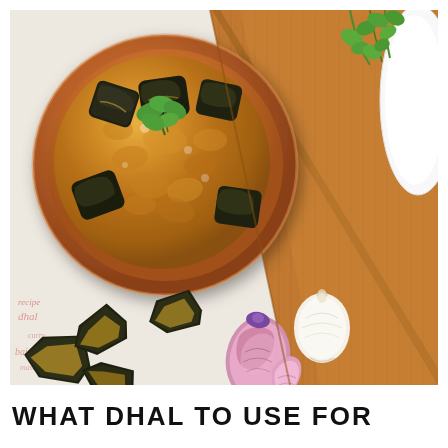[Figure (photo): Overhead/top-down photo of an Indian dhal curry served in a terracotta/clay bowl, garnished with fresh cilantro and pieces of roasted eggplant (aubergine). The bowl is placed on a white surface next to a wooden cutting board. Scattered around are roasted eggplant chunks, a shallot, garlic cloves, and fresh cilantro leaves.]
WHAT DHAL TO USE FOR